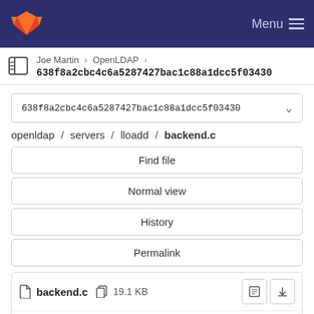Menu
Joe Martin > OpenLDAP > 638f8a2cbc4c6a5287427bac1c88a1dcc5f03430
638f8a2cbc4c6a5287427bac1c88a1dcc5f03430
openldap / servers / lloadd / backend.c
Find file
Normal view
History
Permalink
backend.c  19.1 KB
Newer  Older